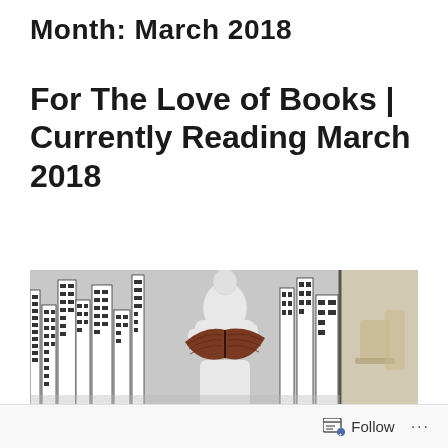Month: March 2018
For The Love of Books | Currently Reading March 2018
[Figure (photo): A white mannequin figure holding and reading an open book with a dark cover, set against a black-and-white illustrated city skyline background. A glass reflection is visible on the right side.]
Follow ...